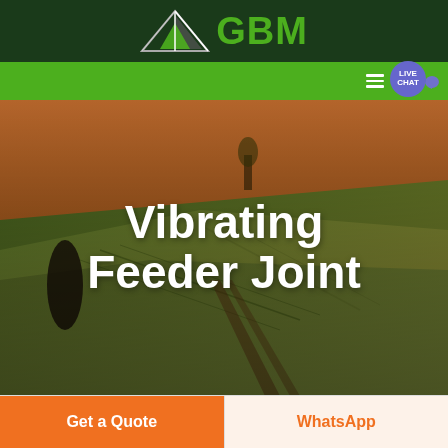[Figure (logo): GBM company logo with green triangular mountain/arrow icon and green text 'GBM' on dark green header bar]
[Figure (screenshot): Green navigation bar with hamburger menu icon and a purple circular 'LIVE CHAT' badge on the right side]
[Figure (photo): Aerial photograph of agricultural green fields with rolling hills and trees at dusk/sunset, used as hero background image]
Vibrating Feeder Joint
Get a Quote
WhatsApp